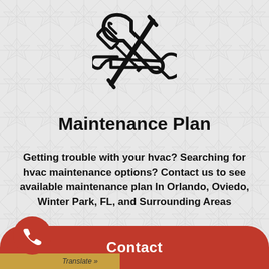[Figure (illustration): Tools icon — crossed screwdriver and wrench in black outline style on a gray geometric patterned background]
Maintenance Plan
Getting trouble with your hvac? Searching for hvac maintenance options? Contact us to see available maintenance plan In Orlando, Oviedo, Winter Park, FL, and Surrounding Areas
Read More
Contact
Translate »